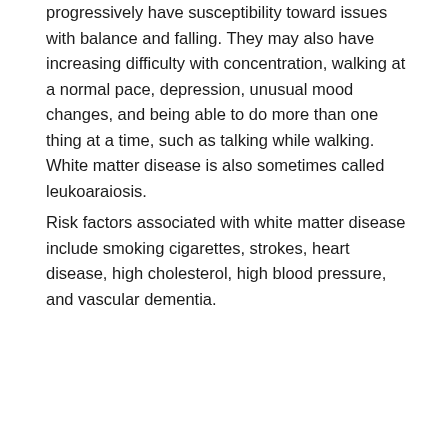progressively have susceptibility toward issues with balance and falling. They may also have increasing difficulty with concentration, walking at a normal pace, depression, unusual mood changes, and being able to do more than one thing at a time, such as talking while walking. White matter disease is also sometimes called leukoaraiosis.
Risk factors associated with white matter disease include smoking cigarettes, strokes, heart disease, high cholesterol, high blood pressure, and vascular dementia.